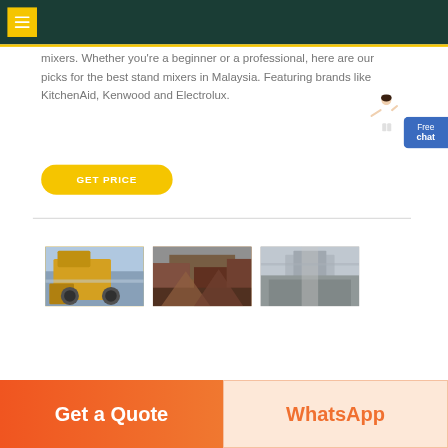[Figure (screenshot): Dark teal navigation bar with yellow menu button (hamburger icon) in top-left corner]
mixers. Whether you're a beginner or a professional, here are our picks for the best stand mixers in Malaysia. Featuring brands like KitchenAid, Kenwood and Electrolux.
[Figure (illustration): Small illustrated figure of a woman in white clothing gesturing, positioned near Free chat widget]
[Figure (other): Blue rounded rectangle button labeled 'Free chat']
GET PRICE
[Figure (photo): Three product/industrial photos in a row: yellow machinery/equipment, industrial debris/machinery, and grey industrial interior]
Get a Quote
WhatsApp